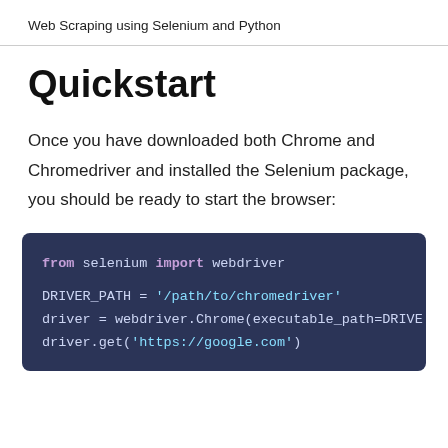Web Scraping using Selenium and Python
Quickstart
Once you have downloaded both Chrome and Chromedriver and installed the Selenium package, you should be ready to start the browser:
from selenium import webdriver

DRIVER_PATH = '/path/to/chromedriver'
driver = webdriver.Chrome(executable_path=DRIVE
driver.get('https://google.com')